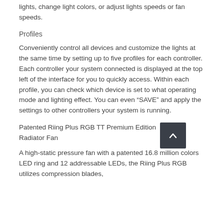lights, change light colors, or adjust lights speeds or fan speeds.
Profiles
Conveniently control all devices and customize the lights at the same time by setting up to five profiles for each controller. Each controller your system connected is displayed at the top left of the interface for you to quickly access. Within each profile, you can check which device is set to what operating mode and lighting effect. You can even “SAVE” and apply the settings to other controllers your system is running.
Patented Riing Plus RGB TT Premium Edition Radiator Fan
A high-static pressure fan with a patented 16.8 million colors LED ring and 12 addressable LEDs, the Riing Plus RGB utilizes compression blades,